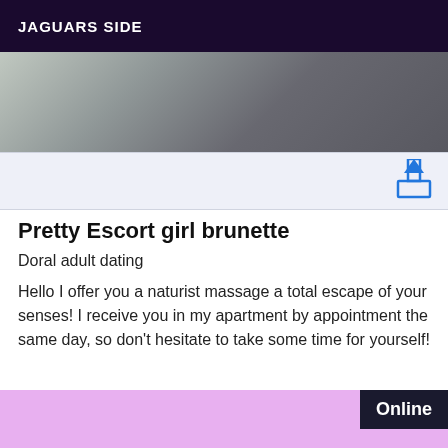JAGUARS SIDE
[Figure (photo): Partial photo showing a person in dark clothing near a door or corridor]
[Figure (screenshot): Share/export icon bar with a blue share icon on light blue background]
Pretty Escort girl brunette
Doral adult dating
Hello I offer you a naturist massage a total escape of your senses! I receive you in my apartment by appointment the same day, so don't hesitate to take some time for yourself!
[Figure (illustration): Pink/lavender colored background card section at the bottom]
Online